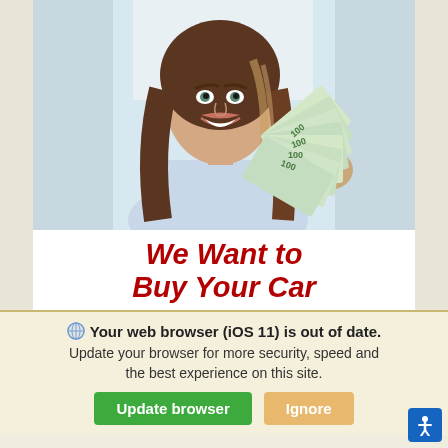[Figure (photo): Advertisement showing a smiling woman with long brown hair holding a fan of dollar bills, with text overlay 'We Want to Buy Your Car' in bold dark red italic font]
Your web browser (iOS 11) is out of date. Update your browser for more security, speed and the best experience on this site.
Update browser | Ignore